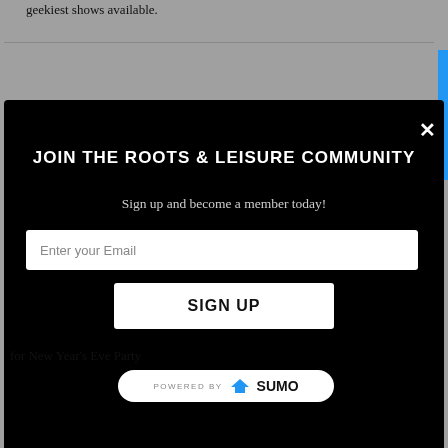geekiest shows available.
[Figure (screenshot): Modal popup with black background showing newsletter signup form for Roots & Leisure Community. Contains title 'JOIN THE ROOTS & LEISURE COMMUNITY', subtitle 'Sign up and become a member today!', an email input field with placeholder 'Enter your Email', and a white 'SIGN UP' button. A close (×) button is in the top-right corner.]
for New Year's Eve Party
POWERED BY SUMO